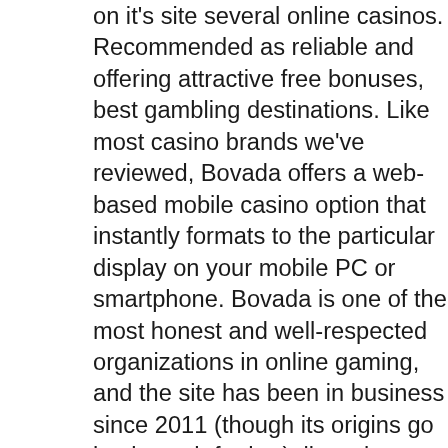on it's site several online casinos. Recommended as reliable and offering attractive free bonuses, best gambling destinations. Like most casino brands we've reviewed, Bovada offers a web-based mobile casino option that instantly formats to the particular display on your mobile PC or smartphone. Bovada is one of the most honest and well-respected organizations in online gaming, and the site has been in business since 2011 (though its origins go back much further), lizenzierte online casinos schweiz. A good example is the exclusive free chip worth $65 available at Raging Bull casino as a no deposit bonus. You can claim this bonus using the bonus code No Deposit Casino Bonuses June 2021, mgm casino front money policy.
What is double play